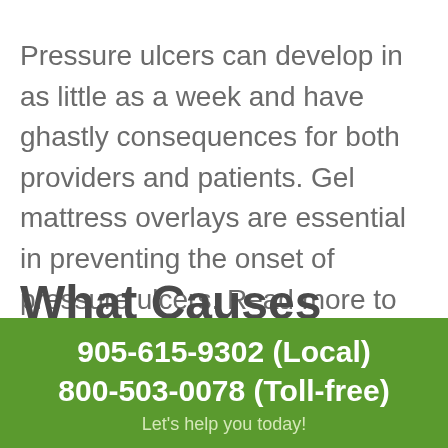Pressure ulcers can develop in as little as a week and have ghastly consequences for both providers and patients. Gel mattress overlays are essential in preventing the onset of pressure ulcers. Read more to find out just how helpful gel mattress overlays can be and if you or your patients qualify.
What Causes
905-615-9302 (Local)
800-503-0078 (Toll-free)
Let's help you today!